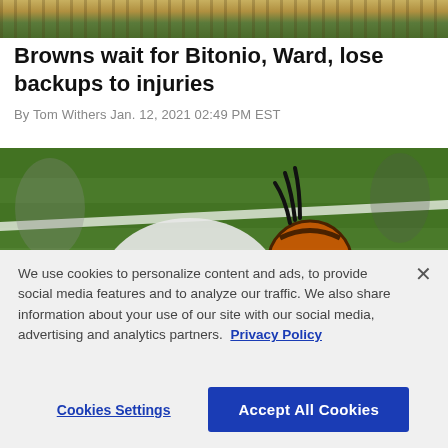[Figure (photo): Top cropped sports photo showing football players, partial view with orange and white uniforms on a green field background]
Browns wait for Bitonio, Ward, lose backups to injuries
By Tom Withers Jan. 12, 2021 02:49 PM EST
[Figure (photo): Football action photo showing Cleveland Browns player wearing orange helmet tackling or being tackled by player wearing #4 white jersey on green field with white yard lines visible]
We use cookies to personalize content and ads, to provide social media features and to analyze our traffic. We also share information about your use of our site with our social media, advertising and analytics partners.  Privacy Policy
Cookies Settings
Accept All Cookies